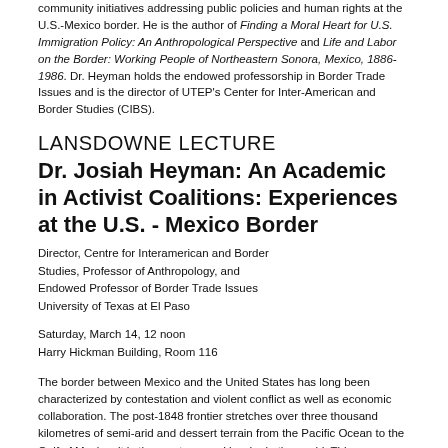community initiatives addressing public policies and human rights at the U.S.-Mexico border. He is the author of Finding a Moral Heart for U.S. Immigration Policy: An Anthropological Perspective and Life and Labor on the Border: Working People of Northeastern Sonora, Mexico, 1886-1986. Dr. Heyman holds the endowed professorship in Border Trade Issues and is the director of UTEP's Center for Inter-American and Border Studies (CIBS).
LANSDOWNE LECTURE
Dr. Josiah Heyman: An Academic in Activist Coalitions: Experiences at the U.S. - Mexico Border
Director, Centre for Interamerican and Border Studies, Professor of Anthropology, and Endowed Professor of Border Trade Issues University of Texas at El Paso
Saturday, March 14, 12 noon
Harry Hickman Building, Room 116
The border between Mexico and the United States has long been characterized by contestation and violent conflict as well as economic collaboration. The post-1848 frontier stretches over three thousand kilometres of semi-arid and dessert terrain from the Pacific Ocean to the Gulf of Mexico; it is the most crossed border in the world. This transcontinental division is an area of commonality and shared economic dependencies, despite income differentials and cultural differences. Professor Heyman is an engaged